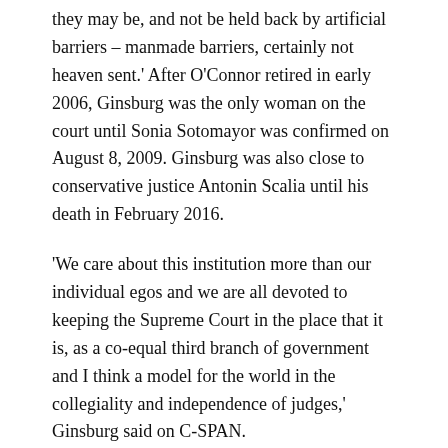they may be, and not be held back by artificial barriers – manmade barriers, certainly not heaven sent.' After O'Connor retired in early 2006, Ginsburg was the only woman on the court until Sonia Sotomayor was confirmed on August 8, 2009. Ginsburg was also close to conservative justice Antonin Scalia until his death in February 2016.
'We care about this institution more than our individual egos and we are all devoted to keeping the Supreme Court in the place that it is, as a co-equal third branch of government and I think a model for the world in the collegiality and independence of judges,' Ginsburg said on C-SPAN.
In 2015, Ginsburg told MSNBC how she would liked to be remembered.
'Someone who used whatever talent she had to do her job to the...